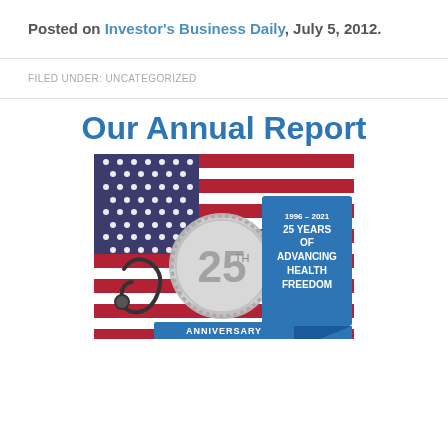Posted on Investor's Business Daily, July 5, 2012.
FILED UNDER: UNCATEGORIZED
Our Annual Report
[Figure (illustration): Annual Report cover image showing an American flag background with a stethoscope, a silver '25th Anniversary' medal/badge, and a blue banner ribbon. Text on blue banner reads: 1996-2021 25 YEARS OF ADVANCING HEALTH FREEDOM. Bottom of image partially shows 'ANNIVERSARY'.]